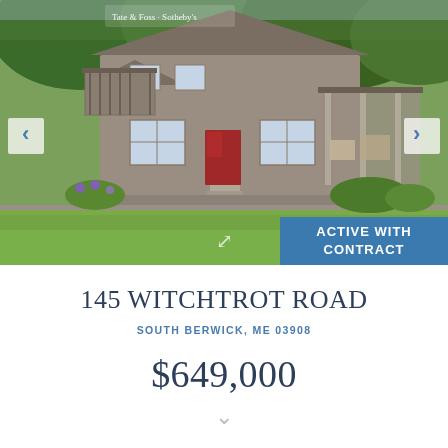[Figure (photo): Exterior photo of a large grey/taupe shingle-style two-story house with decks, red door, stone wall, green lawn, and surrounding trees. Navigation arrows on left and right. Status badge 'ACTIVE WITH CONTRACT' in blue at bottom right. Tate & Foss Sotheby's logo in upper left.]
145 WITCHTROT ROAD
SOUTH BERWICK, ME 03908
$649,000